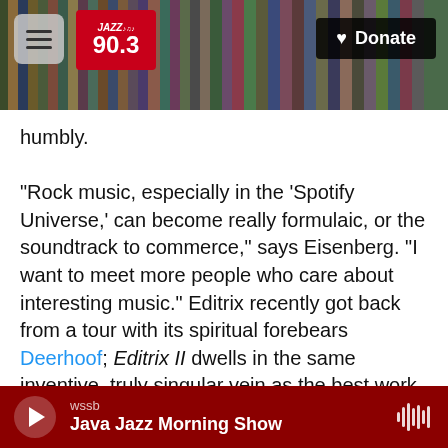JAZZ 90.3 | Donate
humbly.
"Rock music, especially in the 'Spotify Universe,' can become really formulaic, or the soundtrack to commerce," says Eisenberg. "I want to meet more people who care about interesting music." Editrix recently got back from a tour with its spiritual forebears Deerhoof; Editrix II dwells in the same inventive, truly singular vein as the best work by that legendary San Francisco experimental pop group. Only three releases deep, Editrix has already proven that the more its restructures and warps the conventions of a time-tested genre into something
wssb | Java Jazz Morning Show